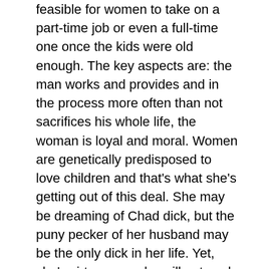feasible for women to take on a part-time job or even a full-time one once the kids were old enough. The key aspects are: the man works and provides and in the process more often than not sacrifices his whole life, the woman is loyal and moral. Women are genetically predisposed to love children and that's what she's getting out of this deal. She may be dreaming of Chad dick, but the puny pecker of her husband may be the only dick in her life. Yet, she's virtuous so she will not seek out opportunities to cheat on her husband.
What I just sketched used used to be the norm in society. Within living memory, single motherhood was stigmatized and even cohabitation without marriage would have made the people around you wonder what kind of morally depraved person you are. Social pressure, supported via relatively centralized messaging via mass media, kept Chad from fathering kids with every young